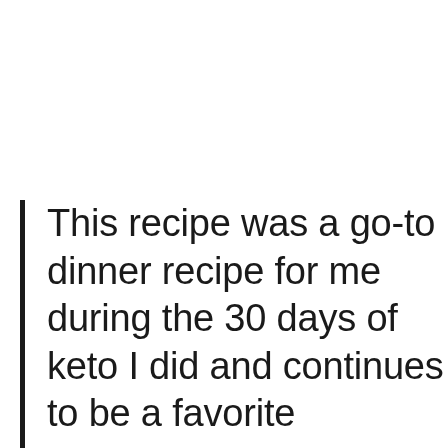This recipe was a go-to dinner recipe for me during the 30 days of keto I did and continues to be a favorite